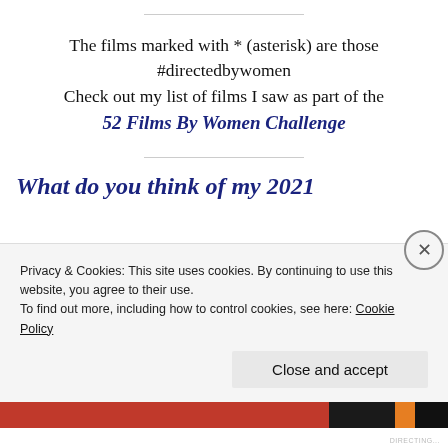The films marked with * (asterisk) are those #directedbywomen
Check out my list of films I saw as part of the 52 Films By Women Challenge
What do you think of my 2021
Privacy & Cookies: This site uses cookies. By continuing to use this website, you agree to their use.
To find out more, including how to control cookies, see here: Cookie Policy
Close and accept